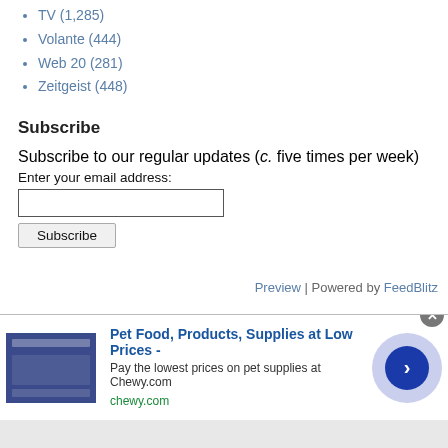TV (1,285)
Volante (444)
Web 20 (281)
Zeitgeist (448)
Subscribe
Subscribe to our regular updates (c. five times per week)
Enter your email address:
Subscribe
Preview | Powered by FeedBlitz
[Figure (logo): Infolinks logo — red square with white dots pattern and infolinks label on dark background]
[Figure (screenshot): Chewy.com advertisement: Pet Food, Products, Supplies at Low Prices - Pay the lowest prices on pet supplies at Chewy.com, chewy.com]